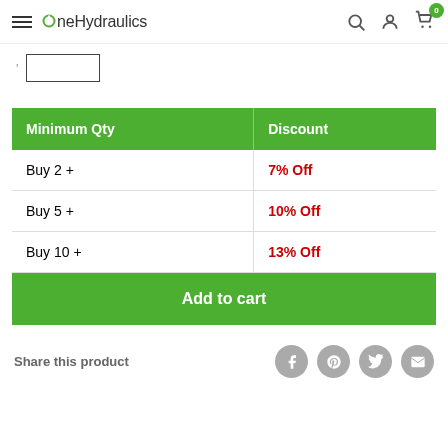OneHydraulics — navigation bar with search, account, and cart icons
| Minimum Qty | Discount |
| --- | --- |
| Buy 2 + | 7% Off |
| Buy 5 + | 10% Off |
| Buy 10 + | 13% Off |
Add to cart
Share this product